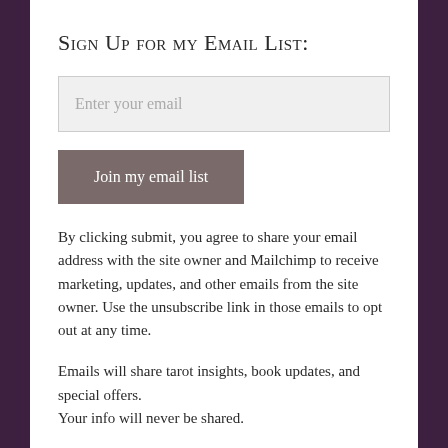Sign Up for my Email List:
Enter your email
Join my email list
By clicking submit, you agree to share your email address with the site owner and Mailchimp to receive marketing, updates, and other emails from the site owner. Use the unsubscribe link in those emails to opt out at any time.
Emails will share tarot insights, book updates, and special offers.
Your info will never be shared.
You can Schedule a Tutor Session